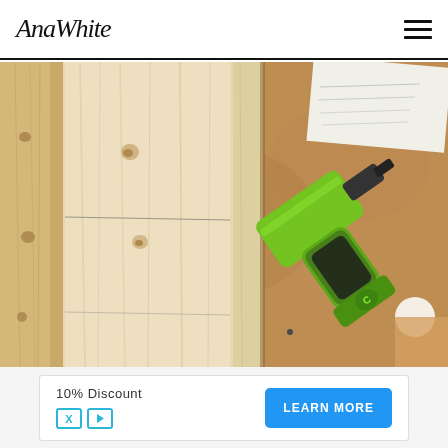AnaWhite
[Figure (photo): Overhead view of pine lumber boards laid on a plywood floor surface next to a green cordless drill/driver. Some paper documents visible in top right corner.]
10% Discount
LEARN MORE